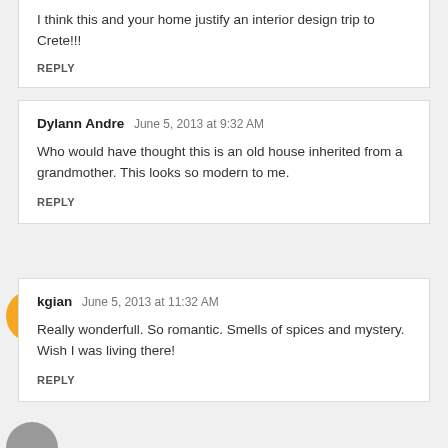I think this and your home justify an interior design trip to Crete!!!
REPLY
Dylann Andre  June 5, 2013 at 9:32 AM
Who would have thought this is an old house inherited from a grandmother. This looks so modern to me.
REPLY
kgian  June 5, 2013 at 11:32 AM
Really wonderfull. So romantic. Smells of spices and mystery. Wish I was living there!
REPLY